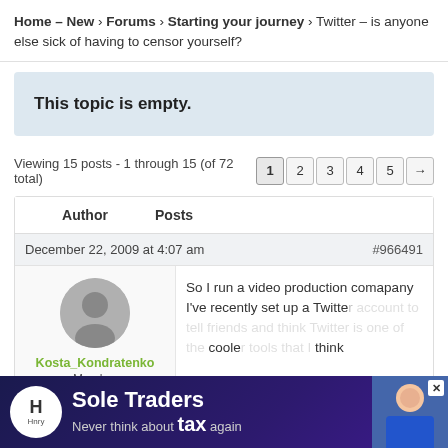Home – New › Forums › Starting your journey › Twitter – is anyone else sick of having to censor yourself?
This topic is empty.
Viewing 15 posts - 1 through 15 (of 72 total)
| Author | Posts |
| --- | --- |
| December 22, 2009 at 4:07 am | #966491 |
| Kosta_Kondratenko
Member
Total posts: 108 | So I run a video production comapany I've recently set up a Twitter... cooler... think |
[Figure (infographic): Advertisement banner for Sole Traders by Hnry: 'Never think about tax again']